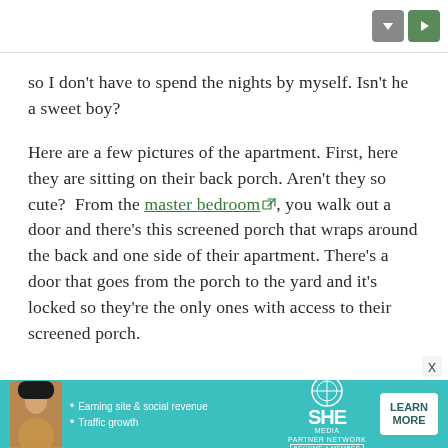so I don't have to spend the nights by myself. Isn't he a sweet boy?
Here are a few pictures of the apartment. First, here they are sitting on their back porch. Aren't they so cute?  From the master bedroom, you walk out a door and there's this screened porch that wraps around the back and one side of their apartment. There's a door that goes from the porch to the yard and it's locked so they're the only ones with access to their screened porch.
[Figure (other): Advertisement banner for SHE Partner Network featuring a woman photo, bullet points 'Earning site & social revenue' and 'Traffic growth', SHE logo, and a LEARN MORE button on teal background.]